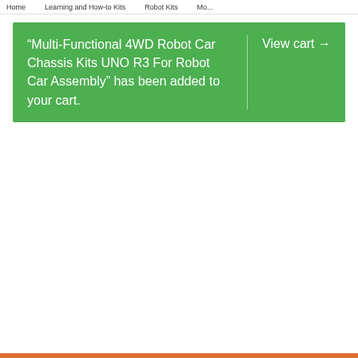Home   Learning and How-to Kits   Robot Kits   Mo...
“Multi-Functional 4WD Robot Car Chassis Kits UNO R3 For Robot Car Assembly” has been added to your cart.   View cart →